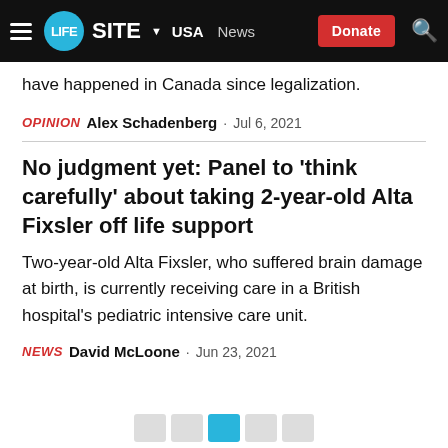LifeSite | USA | News | Donate
have happened in Canada since legalization.
OPINION  Alex Schadenberg · Jul 6, 2021
No judgment yet: Panel to 'think carefully' about taking 2-year-old Alta Fixsler off life support
Two-year-old Alta Fixsler, who suffered brain damage at birth, is currently receiving care in a British hospital's pediatric intensive care unit.
NEWS  David McLoone · Jun 23, 2021